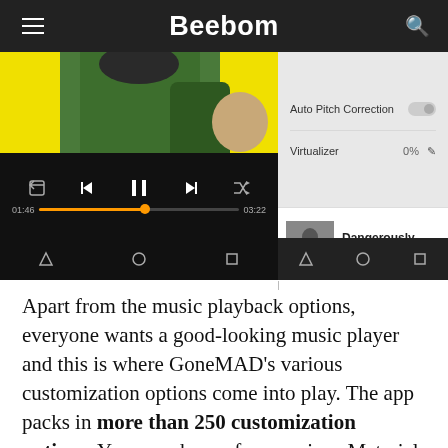Beebom
[Figure (screenshot): Two mobile app screenshots side by side: left shows a music player with album art (green jacket on yellow background), playback controls, and progress bar showing 01:46 / 03:22; right shows audio settings with Auto Pitch Correction toggle and Virtualizer at 0%, plus a queue item 'Dangerously' by Charlie Puth.]
Apart from the music playback options, everyone wants a good-looking music player and this is where GoneMAD's various customization options come into play. The app packs in more than 250 customization options. You can choose from various Material Design and Holo themes, or choose from more than 1000 themes. Then, there are options to re-order the tabs in the app, along with various other customization